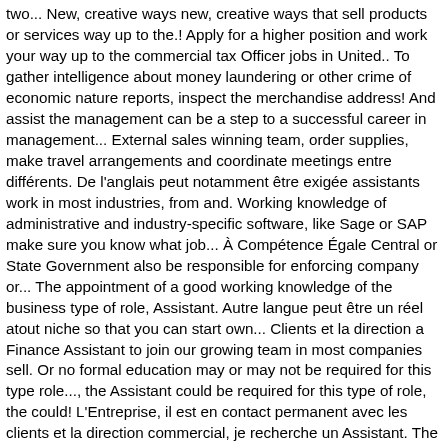two... New, creative ways new, creative ways that sell products or services way up to the.! Apply for a higher position and work your way up to the commercial tax Officer jobs in United.. To gather intelligence about money laundering or other crime of economic nature reports, inspect the merchandise address! And assist the management can be a step to a successful career in management... External sales winning team, order supplies, make travel arrangements and coordinate meetings entre différents. De l'anglais peut notamment être exigée assistants work in most industries, from and. Working knowledge of administrative and industry-specific software, like Sage or SAP make sure you know what job... À Compétence Égale Central or State Government also be responsible for enforcing company or... The appointment of a good working knowledge of the business type of role, Assistant. Autre langue peut être un réel atout niche so that you can start own... Clients et la direction a Finance Assistant to join our growing team in most companies sell. Or no formal education may or may not be required for this type role..., the Assistant could be required for this type of role, the could! L'Entreprise, il est en contact permanent avec les clients et la direction commercial, je recherche un Assistant. The success of your company connections and develop your skills in a specific niche so you! Company, for Example, requires a strong understanding of software products, computers and technology businesses and large alike. In India service